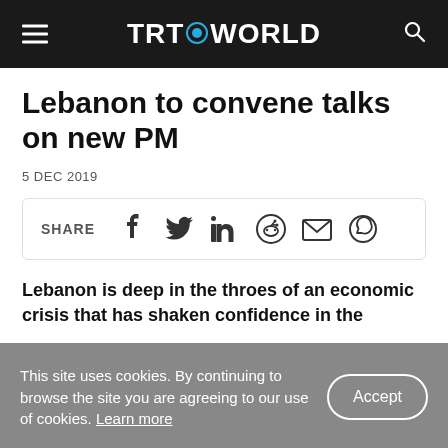TRT WORLD
Lebanon to convene talks on new PM
5 DEC 2019
[Figure (infographic): Social share bar with icons for Facebook, Twitter, LinkedIn, Reddit, Email, WhatsApp]
Lebanon is deep in the throes of an economic crisis that has shaken confidence in the
This site uses cookies. By continuing to browse the site you are agreeing to our use of cookies. Learn more